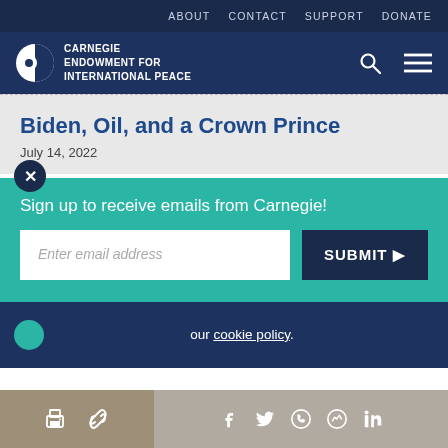ABOUT  CONTACT  SUPPORT  DONATE
[Figure (logo): Carnegie Endowment for International Peace logo with globe icon and white text]
Biden, Oil, and a Crown Prince
July 14, 2022
Sign up to receive emails from Carnegie!
Enter email address
SUBMIT ▶
our cookie policy.
Share bar with print, link, Facebook, Twitter, WhatsApp, Messenger, LinkedIn icons